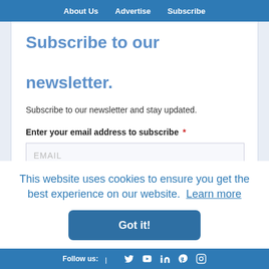About Us  Advertise  Subscribe
Subscribe to our newsletter.
Subscribe to our newsletter and stay updated.
Enter your email address to subscribe *
EMAIL
Provide your email address to subscribe. e.g abc@xyz.com
This website uses cookies to ensure you get the best experience on our website.  Learn more
Got it!
Follow us: